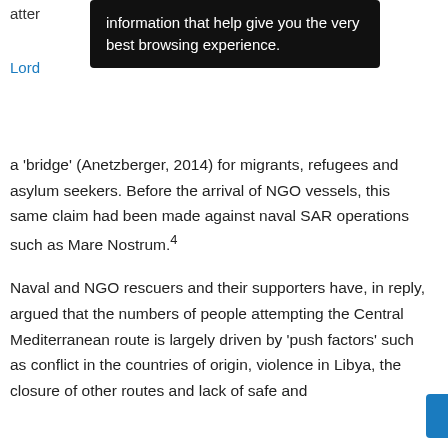atter
Lord
[Figure (screenshot): Dark tooltip overlay with white text reading: 'information that help give you the very best browsing experience.']
a ‘bridge’ (Anetzberger, 2014) for migrants, refugees and asylum seekers. Before the arrival of NGO vessels, this same claim had been made against naval SAR operations such as Mare Nostrum.4
Naval and NGO rescuers and their supporters have, in reply, argued that the numbers of people attempting the Central Mediterranean route is largely driven by ‘push factors’ such as conflict in the countries of origin, violence in Libya, the closure of other routes and lack of safe and